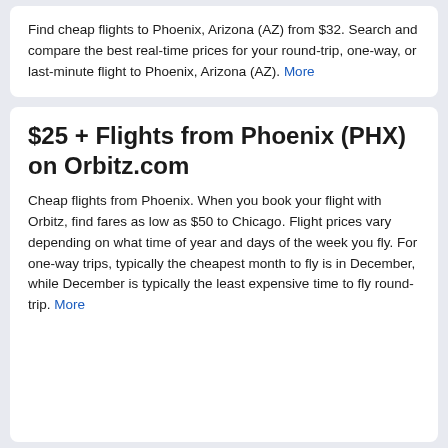Find cheap flights to Phoenix, Arizona (AZ) from $32. Search and compare the best real-time prices for your round-trip, one-way, or last-minute flight to Phoenix, Arizona (AZ). More
$25 + Flights from Phoenix (PHX) on Orbitz.com
Cheap flights from Phoenix. When you book your flight with Orbitz, find fares as low as $50 to Chicago. Flight prices vary depending on what time of year and days of the week you fly. For one-way trips, typically the cheapest month to fly is in December, while December is typically the least expensive time to fly round-trip. More